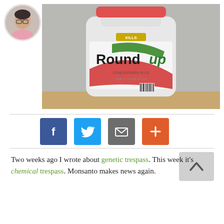[Figure (photo): Circular avatar/headshot of a woman with glasses and a pink top]
[Figure (photo): Photo of a white Roundup weed killer concentrate plus bottle with red cap and green/red label]
[Figure (infographic): Social sharing buttons row: Facebook (blue), Twitter (blue), Email (grey), Plus/More (orange-red)]
Two weeks ago I wrote about genetic trespass. This week it's chemical trespass. Monsanto makes news again.